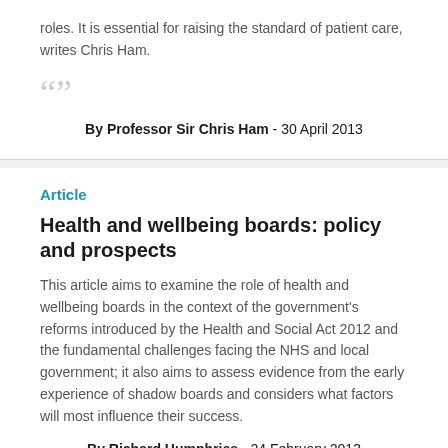roles. It is essential for raising the standard of patient care, writes Chris Ham.
By Professor Sir Chris Ham - 30 April 2013
Article
Health and wellbeing boards: policy and prospects
This article aims to examine the role of health and wellbeing boards in the context of the government's reforms introduced by the Health and Social Act 2012 and the fundamental challenges facing the NHS and local government; it also aims to assess evidence from the early experience of shadow boards and considers what factors will most influence their success.
By Richard Humphries - 24 February 2013